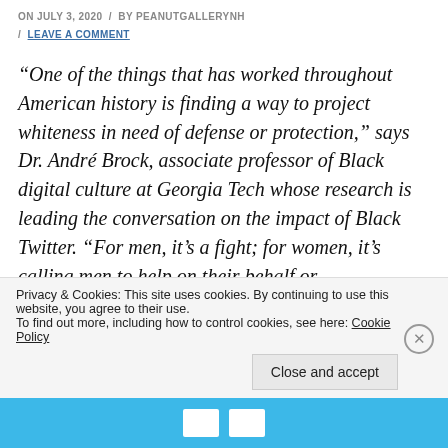ON JULY 3, 2020 / BY PEANUTGALLERYNH / LEAVE A COMMENT
“One of the things that has worked throughout American history is finding a way to project whiteness in need of defense or protection,” says Dr. André Brock, associate professor of Black digital culture at Georgia Tech whose research is leading the conversation on the impact of Black Twitter. “For men, it’s a fight; for women, it’s calling men to help on their behalf or demonstrating that they are so frail that they cannot
Privacy & Cookies: This site uses cookies. By continuing to use this website, you agree to their use.
To find out more, including how to control cookies, see here: Cookie Policy
Close and accept